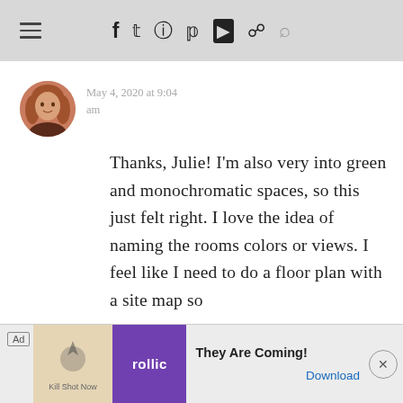≡  f  𝕟  ○  ⊕  ▶  ⌘  🔍
[Figure (photo): Circular avatar photo of a woman with long wavy hair, wearing a dark top]
May 4, 2020 at 9:04 am
Thanks, Julie! I'm also very into green and monochromatic spaces, so this just felt right. I love the idea of naming the rooms colors or views. I feel like I need to do a floor plan with a site map so
[Figure (other): Advertisement banner: Ad label, decorative image, purple Rollic logo, text 'They Are Coming!', Download button, and X close button]